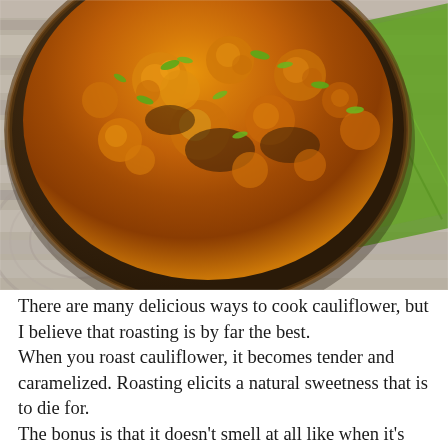[Figure (photo): Overhead photo of a dark bowl filled with roasted golden-orange cauliflower florets garnished with chopped green onions, placed on a wooden surface with chopsticks tied with a yellow band and a green napkin visible.]
There are many delicious ways to cook cauliflower, but I believe that roasting is by far the best.
When you roast cauliflower, it becomes tender and caramelized. Roasting elicits a natural sweetness that is to die for.
The bonus is that it doesn't smell at all like when it's boiled or steamed.
Fresh ...